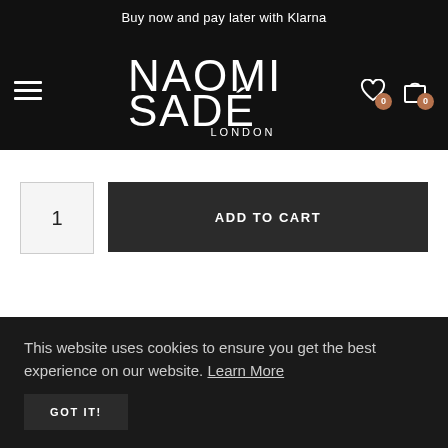Buy now and pay later with Klarna
[Figure (logo): Naomi Sadé London brand logo in white on black background, with hamburger menu icon on left and heart/cart icons with 0 badges on right]
1
ADD TO CART
This website uses cookies to ensure you get the best experience on our website. Learn More
GOT IT!